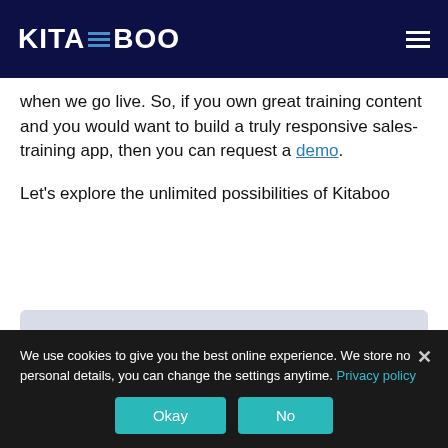KITABOO
when we go live. So, if you own great training content and you would want to build a truly responsive sales-training app, then you can request a demo.
Let's explore the unlimited possibilities of Kitaboo
DISCOVER HOW A MOBILE-FIRST TRAINING PLATFORM CAN HELP YOUR ORGANIZATION
Kitaboo is a cloud-based platform to create, deliver & track mobile-first interactive training content.
We use cookies to give you the best online experience. We store no personal details, you can change the settings anytime. Privacy policy
Okay No